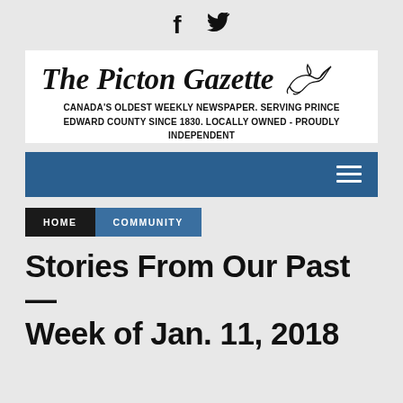f  (twitter icon)
The Picton Gazette
CANADA'S OLDEST WEEKLY NEWSPAPER. SERVING PRINCE EDWARD COUNTY SINCE 1830. LOCALLY OWNED - PROUDLY INDEPENDENT
[Figure (other): Navigation bar with hamburger menu icon on blue background]
HOME
COMMUNITY
Stories From Our Past — Week of Jan. 11, 2018